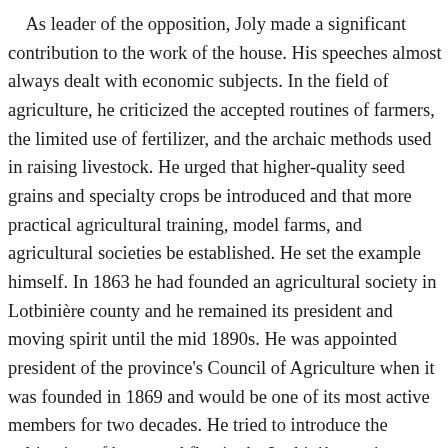As leader of the opposition, Joly made a significant contribution to the work of the house. His speeches almost always dealt with economic subjects. In the field of agriculture, he criticized the accepted routines of farmers, the limited use of fertilizer, and the archaic methods used in raising livestock. He urged that higher-quality seed grains and specialty crops be introduced and that more practical agricultural training, model farms, and agricultural societies be established. He set the example himself. In 1863 he had founded an agricultural society in Lotbinière county and he remained its president and moving spirit until the mid 1890s. He was appointed president of the province's Council of Agriculture when it was founded in 1869 and would be one of its most active members for two decades. He tried to introduce the cultivation of hemp and flax in the Lotbinière region, encouraged the growing of sugar beets, and during the 1880s began to urge the agricultural community to specialize in dairy farming. His own operation at Pointe-au-Platon